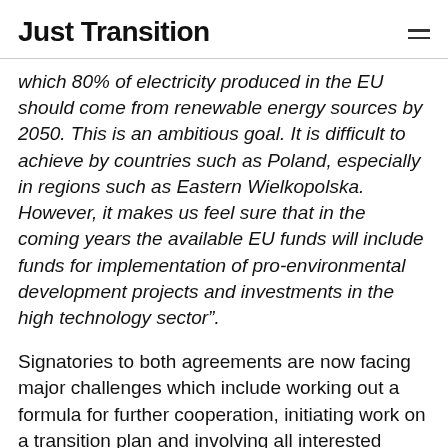Just Transition
which 80% of electricity produced in the EU should come from renewable energy sources by 2050. This is an ambitious goal. It is difficult to achieve by countries such as Poland, especially in regions such as Eastern Wielkopolska. However, it makes us feel sure that in the coming years the available EU funds will include funds for implementation of pro-environmental development projects and investments in the high technology sector”.
Signatories to both agreements are now facing major challenges which include working out a formula for further cooperation, initiating work on a transition plan and involving all interested stakeholders. Considering the size of ZE PAK’s